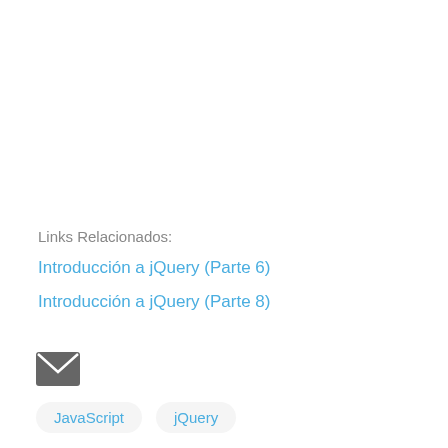Links Relacionados:
Introducción a jQuery (Parte 6)
Introducción a jQuery (Parte 8)
[Figure (illustration): Email envelope icon (dark grey)]
JavaScript
jQuery